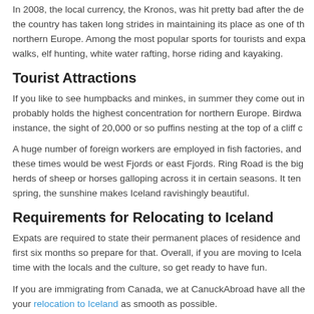In 2008, the local currency, the Kronos, was hit pretty bad after the de... the country has taken long strides in maintaining its place as one of th... northern Europe. Among the most popular sports for tourists and expa... walks, elf hunting, white water rafting, horse riding and kayaking.
Tourist Attractions
If you like to see humpbacks and minkes, in summer they come out in... probably holds the highest concentration for northern Europe. Birdwa... instance, the sight of 20,000 or so puffins nesting at the top of a cliff c...
A huge number of foreign workers are employed in fish factories, and... these times would be west Fjords or east Fjords. Ring Road is the big... herds of sheep or horses galloping across it in certain seasons. It ten... spring, the sunshine makes Iceland ravishingly beautiful.
Requirements for Relocating to Iceland
Expats are required to state their permanent places of residence and... first six months so prepare for that. Overall, if you are moving to Icela... time with the locals and the culture, so get ready to have fun.
If you are immigrating from Canada, we at CanuckAbroad have all the... your relocation to Iceland as smooth as possible.